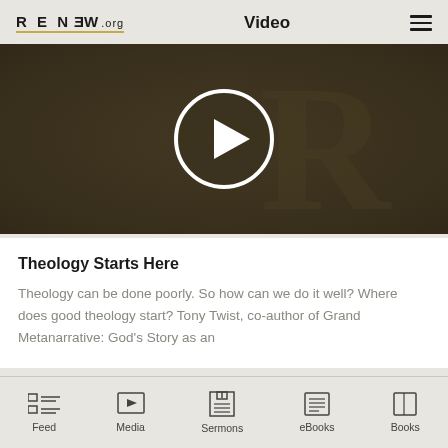RENEW.org  Video
[Figure (screenshot): Dark olive/brown video thumbnail with a centered white play button circle and a faint watermark letter R in the background]
Theology Starts Here
Theology can be done poorly. So how can we do it well? Where does good theology start? Tony Twist, co-author of Grand Metanarrative: God's Story as an
Feed  Media  Sermons  eBooks  Books